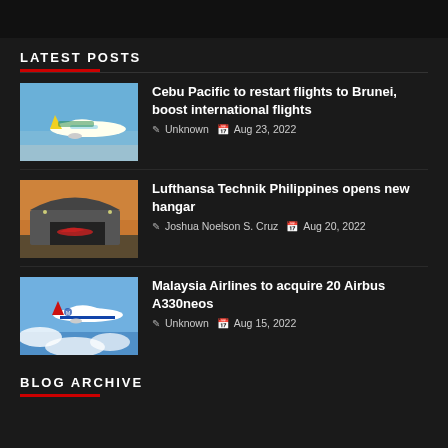LATEST POSTS
Cebu Pacific to restart flights to Brunei, boost international flights | Unknown | Aug 23, 2022
Lufthansa Technik Philippines opens new hangar | Joshua Noelson S. Cruz | Aug 20, 2022
Malaysia Airlines to acquire 20 Airbus A330neos | Unknown | Aug 15, 2022
BLOG ARCHIVE